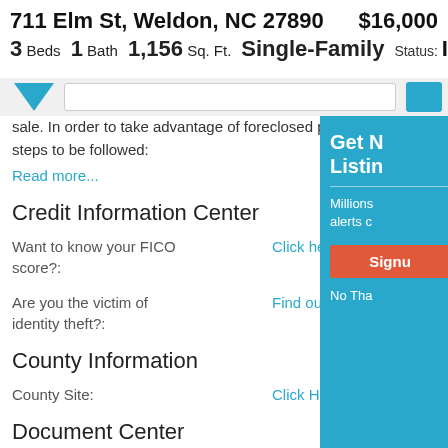711 Elm St, Weldon, NC 27890   $16,000
3 Beds   1 Bath   1,156 Sq. Ft.   Single-Family   Status: Inactive
[Figure (screenshot): Navigation bar with blue triangle icon, search bar, and blue button]
sale. In order to take advantage of foreclosed properties there are some basic steps to be followed:
Read more...
Credit Information Center
Want to know your FICO score?:
Click here
Are you the victim of identity theft?:
Find out
County Information
County Site:
Click Here
Document Center
[Figure (screenshot): Teal sidebar panel with Get N... Listin... headline, Millions... alerts c... body text, Signup button in red/orange, and No Tha... text]